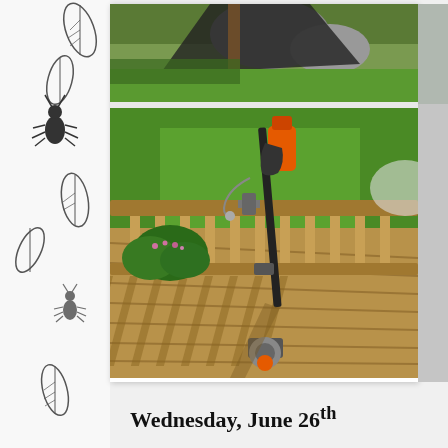[Figure (photo): Decorative black silhouettes of leaves and insects/bugs on white/light gray left margin strip]
[Figure (photo): Top portion: outdoor backyard scene with green grass, trees, and dark landscaping fabric. Main photo: A BLACK+DECKER cordless electric string trimmer/weed eater leaning against a wooden deck railing, with green lawn visible in background, taken on a sunny day with shadows on the deck boards.]
Wednesday, June 26th